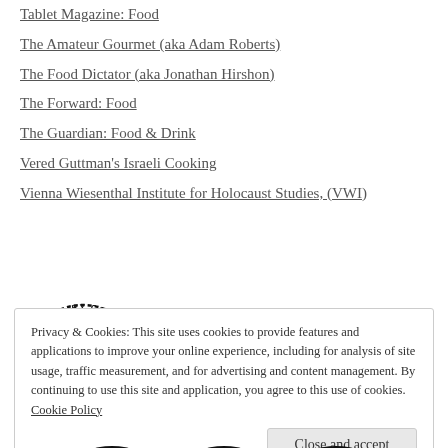Tablet Magazine: Food
The Amateur Gourmet (aka Adam Roberts)
The Food Dictator (aka Jonathan Hirshon)
The Forward: Food
The Guardian: Food & Drink
Vered Guttman's Israeli Cooking
Vienna Wiesenthal Institute for Holocaust Studies, (VWI)
[Figure (logo): Copyscape Protected - Do Not Copy circular badge logo with copyright symbol in center]
Privacy & Cookies: This site uses cookies to provide features and applications to improve your online experience, including for analysis of site usage, traffic measurement, and for advertising and content management. By continuing to use this site and application, you agree to this use of cookies. Cookie Policy
Close and accept